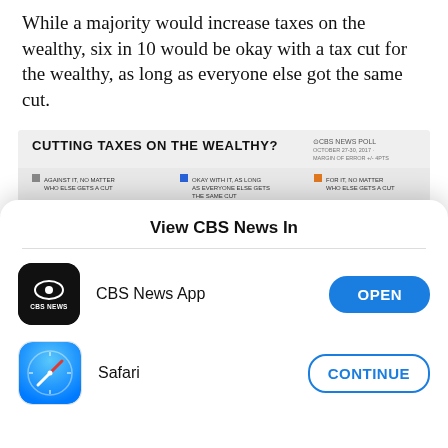While a majority would increase taxes on the wealthy, six in 10 would be okay with a tax cut for the wealthy, as long as everyone else got the same cut.
[Figure (bar-chart): CBS News Poll chart showing opinions on cutting taxes on the wealthy. Three categories: Against it no matter who else gets a cut, Okay with it as long as everyone else gets the same cut (shown around 60%), For it no matter who else gets a cut. Y-axis shows values from 40 to 100. The blue bar reaches approximately 60.]
View CBS News In
CBS News App
Safari